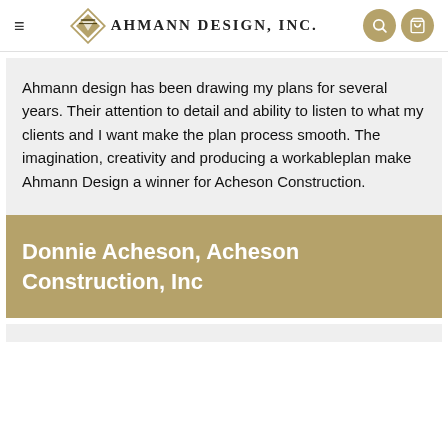≡  AHMANN DESIGN, INC.
Ahmann design has been drawing my plans for several years. Their attention to detail and ability to listen to what my clients and I want make the plan process smooth. The imagination, creativity and producing a workableplan make Ahmann Design a winner for Acheson Construction.
Donnie Acheson, Acheson Construction, Inc